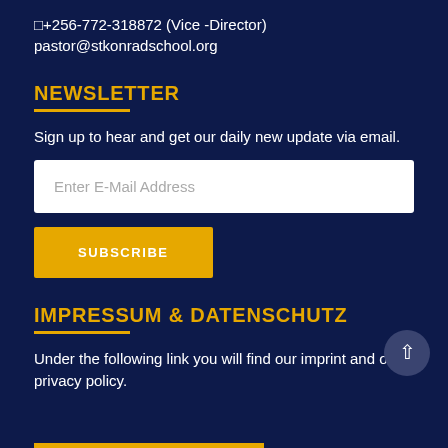□+256-772-318872 (Vice -Director)
pastor@stkonradschool.org
NEWSLETTER
Sign up to hear and get our daily new update via email.
[Figure (other): Email input field with placeholder text 'Enter E-Mail Address']
[Figure (other): Yellow Subscribe button with white bold text 'SUBSCRIBE']
IMPRESSUM & DATENSCHUTZ
Under the following link you will find our imprint and our privacy policy.